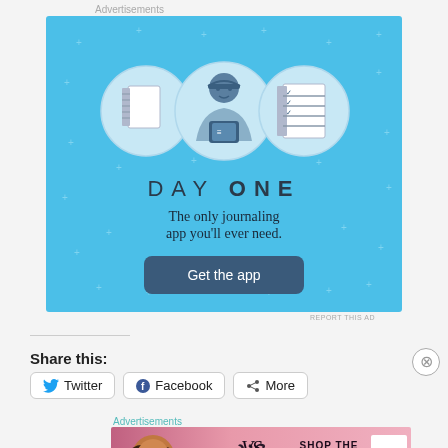Advertisements
[Figure (illustration): Day One journaling app advertisement. Light blue background with small star/cross decorations. Three circular icons at top: a notebook, a person wearing a cap holding a phone, and a checklist. Below: 'DAY ONE' in spaced letters, 'The only journaling app you'll ever need.' in dark text, and a dark teal rounded button reading 'Get the app'.]
REPORT THIS AD
Share this:
Twitter
Facebook
More
Advertisements
[Figure (illustration): Victoria's Secret advertisement. Pink gradient background. Left side shows a woman's face with curly hair. Center shows the VS logo and text 'VICTORIA'S SECRET'. Right side shows text 'SHOP THE COLLECTION' and a white box with 'SHOP NOW'.]
REPORT THIS AD